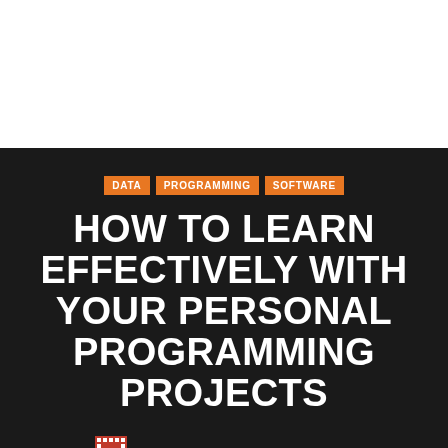[Figure (illustration): White blank area at top of page]
DATA
PROGRAMMING
SOFTWARE
HOW TO LEARN EFFECTIVELY WITH YOUR PERSONAL PROGRAMMING PROJECTS
ACKLEY WYNDAM   MAY 23, 2022